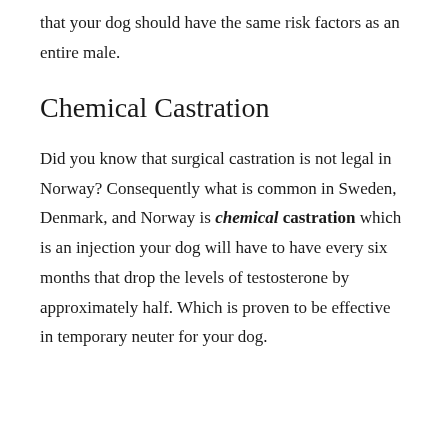that your dog should have the same risk factors as an entire male.
Chemical Castration
Did you know that surgical castration is not legal in Norway? Consequently what is common in Sweden, Denmark, and Norway is chemical castration which is an injection your dog will have to have every six months that drop the levels of testosterone by approximately half. Which is proven to be effective in temporary neuter for your dog. This...